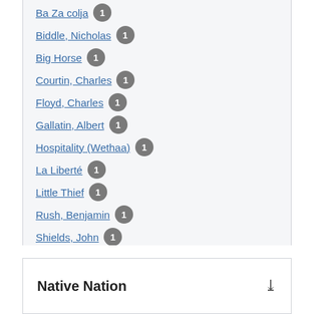Ba Za colja 1
Biddle, Nicholas 1
Big Horse 1
Courtin, Charles 1
Floyd, Charles 1
Gallatin, Albert 1
Hospitality (Wethaa) 1
La Liberté 1
Little Thief 1
Rush, Benjamin 1
Shields, John 1
Vial, Pedro 1
Wau-pe-ur 1
See all People
Native Nation